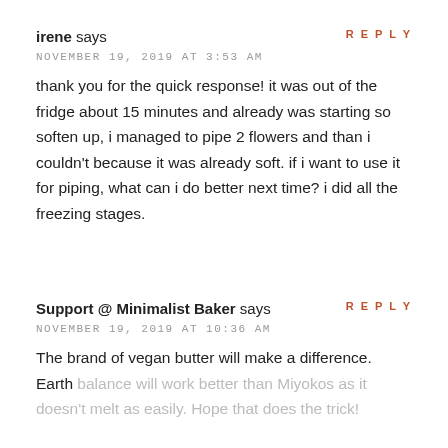REPLY
irene says
NOVEMBER 19, 2019 AT 3:53 AM
thank you for the quick response! it was out of the fridge about 15 minutes and already was starting so soften up, i managed to pipe 2 flowers and than i couldn't because it was already soft. if i want to use it for piping, what can i do better next time? i did all the freezing stages.
REPLY
Support @ Minimalist Baker says
NOVEMBER 19, 2019 AT 10:36 AM
The brand of vegan butter will make a difference. Earth balance will work better than Miyokos as it doesn't melt as easily. Hope that does the trick!